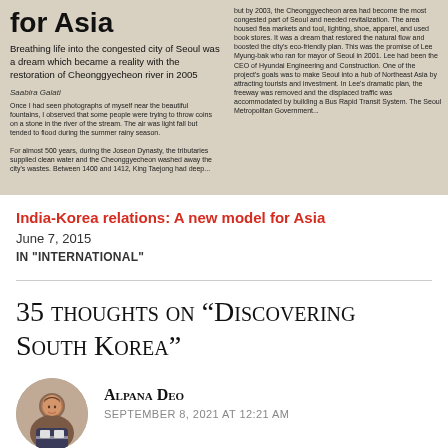[Figure (photo): Newspaper clipping showing an article titled 'for Asia' with subtitle 'Breathing life into the congested city of Seoul was a dream which became a reality with the restoration of Cheonggyecheon river in 2005', byline 'Saabira Galati', and body text in two columns. Right column contains smaller body text.]
India-Korea relations: A new model for Asia
June 7, 2015
IN "INTERNATIONAL"
35 thoughts on “Discovering South Korea”
Alpana Deo
September 8, 2021 at 12:21 AM